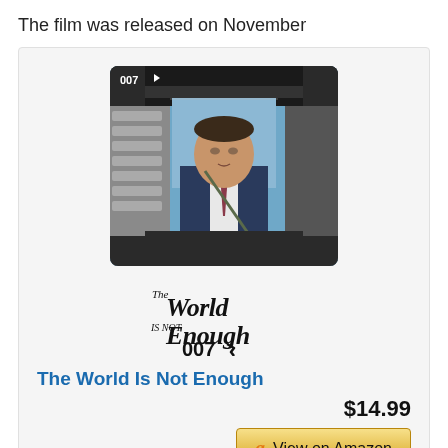The film was released on November
[Figure (photo): Movie product card for 'The World Is Not Enough' (James Bond 007) showing Pierce Brosnan in a vehicle with the 007 logo, and the film title logo below.]
The World Is Not Enough
$14.99
View on Amazon